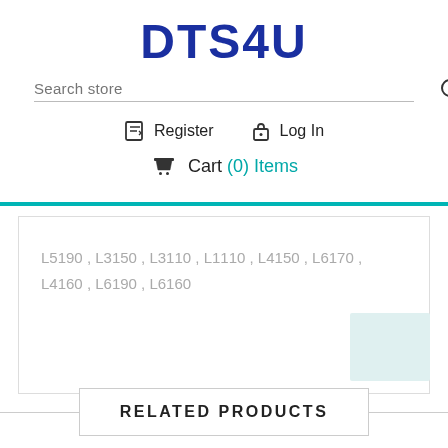DTS4U
Search store
Register   Log In
Cart (0) Items
L5190 , L3150 , L3110 , L1110 , L4150 , L6170 , L4160 , L6190 , L6160
RELATED PRODUCTS